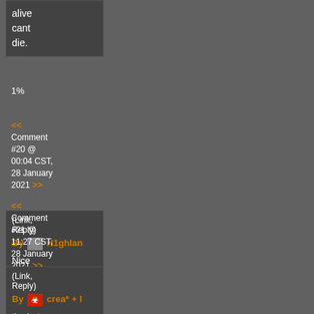alive cant die.
1%
<< Comment #20 @ 00:04 CST, 28 January 2021 >>
(Link, Reply) By H1ghlan
Nice list
https://w
<< Comment #21 @ 11:27 CST, 28 January 2021 >>
(Link, Reply) By crea* + l
the bot nov is